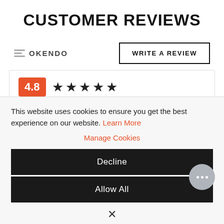CUSTOMER REVIEWS
[Figure (logo): Okendo logo with three horizontal lines icon and text OKENDO]
WRITE A REVIEW
4.8 ★★★★★ Based on 16 reviews
5 Stars 15
This website uses cookies to ensure you get the best experience on our website. Learn More
Manage Cookies
Decline
Allow All
×